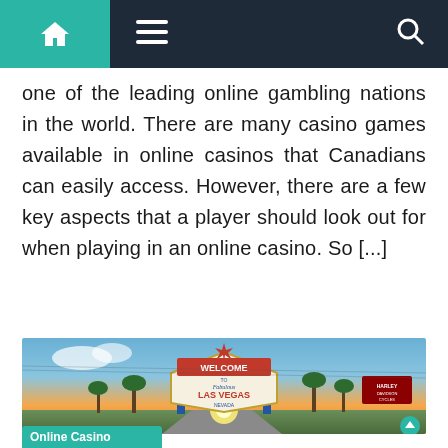Navigation bar with home, menu, and search icons
one of the leading online gambling nations in the world. There are many casino games available in online casinos that Canadians can easily access. However, there are a few key aspects that a player should look out for when playing in an online casino. So [...]
[Figure (photo): Welcome to Fabulous Las Vegas Nevada sign photograph at sunset with palm trees and street in background, Harley-Davidson Cycles sign visible on right]
Online Casino